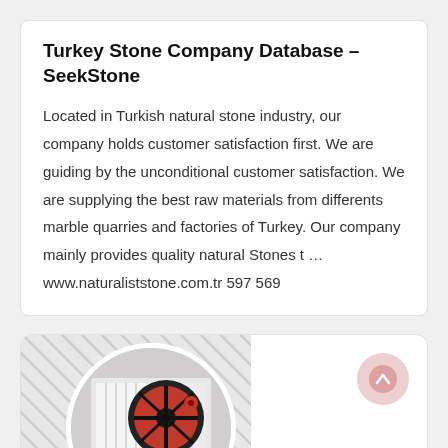Turkey Stone Company Database - SeekStone
Located in Turkish natural stone industry, our company holds customer satisfaction first. We are guiding by the unconditional customer satisfaction. We are supplying the best raw materials from differents marble quarries and factories of Turkey. Our company mainly provides quality natural Stones t ... www.naturaliststone.com.tr 597 569
[Figure (photo): Circular cropped photo of industrial stone crushing machinery (white machine with red wheel/flywheel), placed on a hatched diagonal striped background within a rounded card.]
ARMADEKS Marble